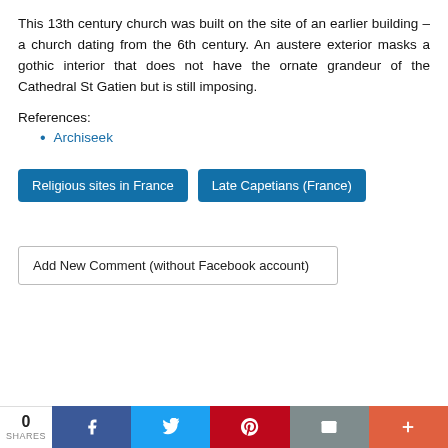This 13th century church was built on the site of an earlier building – a church dating from the 6th century. An austere exterior masks a gothic interior that does not have the ornate grandeur of the Cathedral St Gatien but is still imposing.
References:
Archiseek
Religious sites in France
Late Capetians (France)
Add New Comment (without Facebook account)
0 SHARES | Facebook | Twitter | Pinterest | Email | +